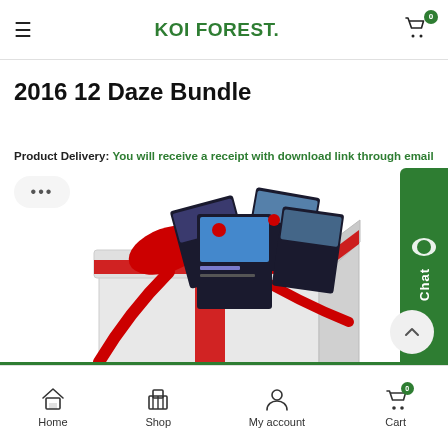KOI FOREST.
2016 12 Daze Bundle
Product Delivery: You will receive a receipt with download link through email
[Figure (photo): Gift box with red ribbon containing product cards/digital products]
Home  Shop  My account  Cart